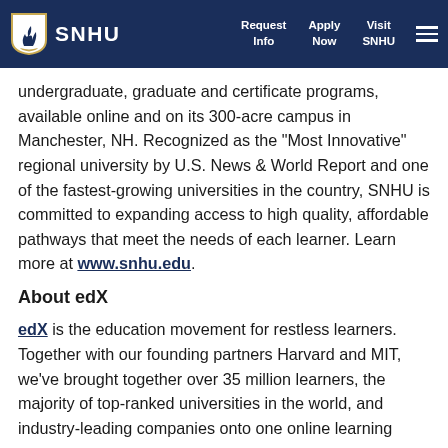SNHU | Request Info | Apply Now | Visit SNHU
undergraduate, graduate and certificate programs, available online and on its 300-acre campus in Manchester, NH. Recognized as the "Most Innovative" regional university by U.S. News & World Report and one of the fastest-growing universities in the country, SNHU is committed to expanding access to high quality, affordable pathways that meet the needs of each learner. Learn more at www.snhu.edu.
About edX
edX is the education movement for restless learners. Together with our founding partners Harvard and MIT, we've brought together over 35 million learners, the majority of top-ranked universities in the world, and industry-leading companies onto one online learning